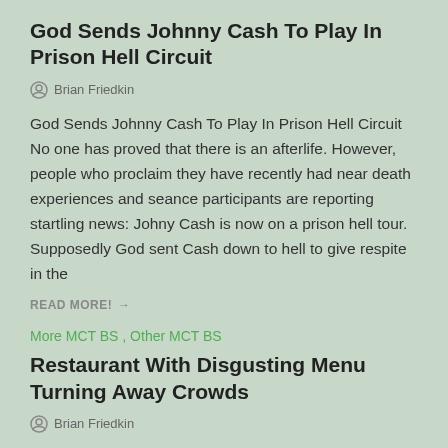God Sends Johnny Cash To Play In Prison Hell Circuit
Brian Friedkin
God Sends Johnny Cash To Play In Prison Hell Circuit No one has proved that there is an afterlife. However, people who proclaim they have recently had near death experiences and seance participants are reporting startling news: Johny Cash is now on a prison hell tour. Supposedly God sent Cash down to hell to give respite in the
READ MORE! →
More MCT BS , Other MCT BS
Restaurant With Disgusting Menu Turning Away Crowds
Brian Friedkin
Restaurant With Disgusting Menu Turning Away Crowds Menu Items Include Unwashed Pig Anus, Mashed Donkey